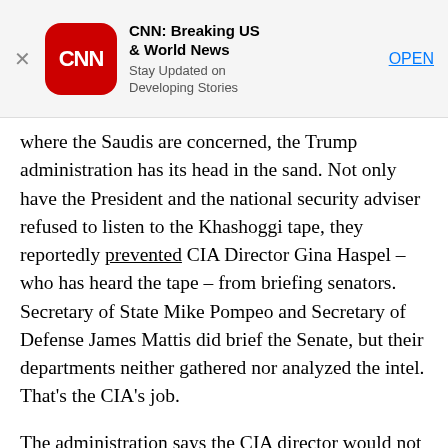[Figure (screenshot): CNN app advertisement banner with CNN logo, app name 'CNN: Breaking US & World News', subtitle 'Stay Updated on Developing Stories', and OPEN button]
where the Saudis are concerned, the Trump administration has its head in the sand. Not only have the President and the national security adviser refused to listen to the Khashoggi tape, they reportedly prevented CIA Director Gina Haspel – who has heard the tape – from briefing senators. Secretary of State Mike Pompeo and Secretary of Defense James Mattis did brief the Senate, but their departments neither gathered nor analyzed the intel. That's the CIA's job.
The administration says the CIA director would not attend the meeting because it was more focused on policy toward Yemen – where the Saudis' role, incidentally, has been deeply controversial.